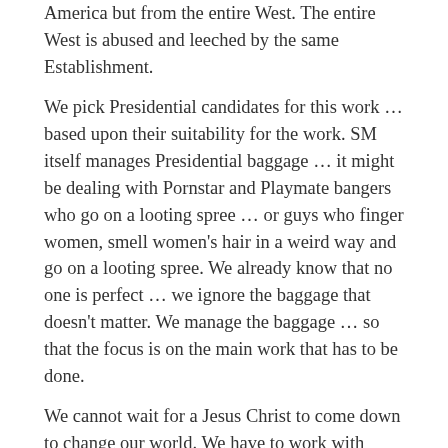America but from the entire West. The entire West is abused and leeched by the same Establishment.
We pick Presidential candidates for this work … based upon their suitability for the work. SM itself manages Presidential baggage … it might be dealing with Pornstar and Playmate bangers who go on a looting spree … or guys who finger women, smell women's hair in a weird way and go on a looting spree. We already know that no one is perfect … we ignore the baggage that doesn't matter. We manage the baggage … so that the focus is on the main work that has to be done.
We cannot wait for a Jesus Christ to come down to change our world. We have to work with what's available and what's more suitable to take the work forward.
SM's dual roles
SM basically has dual roles …
Managing the Presidency. They manage all of the baggage that the President has. They